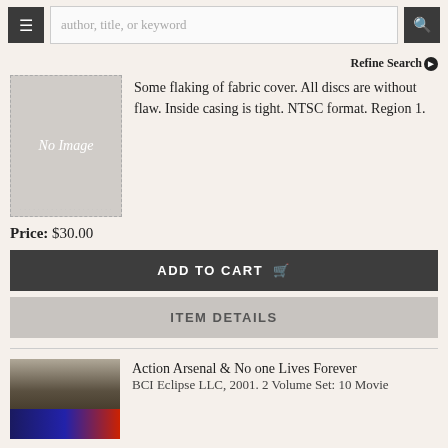author, title, or keyword
Refine Search
[Figure (other): No Image placeholder box]
Some flaking of fabric cover. All discs are without flaw. Inside casing is tight. NTSC format. Region 1.
Price: $30.00
ADD TO CART
ITEM DETAILS
Action Arsenal & No one Lives Forever
BCI Eclipse LLC, 2001. 2 Volume Set: 10 Movie